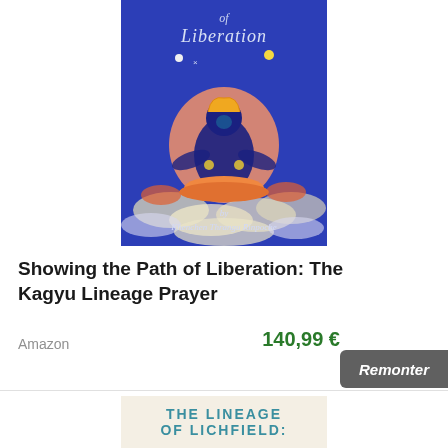[Figure (photo): Book cover of 'Showing the Path of Liberation: The Kagyu Lineage Prayer' by Khenchen Thrangu Rinpoche. Blue background with Tibetan Buddhist deity illustration in orange, red, and blue. Title in italic white text at top, author name at bottom.]
Showing the Path of Liberation: The Kagyu Lineage Prayer
Amazon
140,99 €
Remonter
[Figure (photo): Partial view of another book cover with cream/beige background showing text 'THE LINEAGE OF LICHFIELD:' in teal/blue capital letters.]